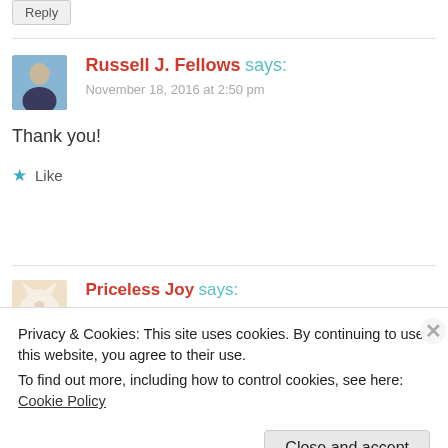Reply
Russell J. Fellows says:
November 18, 2016 at 2:50 pm
Thank you!
★ Like
Priceless Joy says:
Privacy & Cookies: This site uses cookies. By continuing to use this website, you agree to their use.
To find out more, including how to control cookies, see here: Cookie Policy
Close and accept